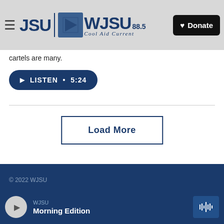WJSU 88.5 Cool Aid Current — Donate
cartels are many.
LISTEN • 5:24
Load More
© 2022 WJSU
WJSU Audit Report 2016
WJSU Morning Edition